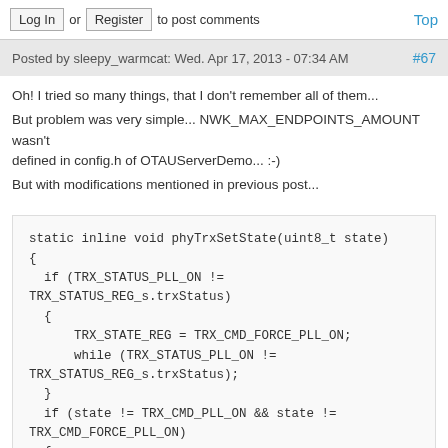Log In or Register to post comments  Top
Posted by sleepy_warmcat: Wed. Apr 17, 2013 - 07:34 AM  #67
Oh! I tried so many things, that I don't remember all of them... But problem was very simple... NWK_MAX_ENDPOINTS_AMOUNT wasn't defined in config.h of OTAUServerDemo... :-) But with modifications mentioned in previous post...
static inline void phyTrxSetState(uint8_t state)
{
  if (TRX_STATUS_PLL_ON !=
TRX_STATUS_REG_s.trxStatus)
  {
      TRX_STATE_REG = TRX_CMD_FORCE_PLL_ON;
      while (TRX_STATUS_PLL_ON !=
TRX_STATUS_REG_s.trxStatus);
  }
  if (state != TRX_CMD_PLL_ON && state !=
TRX_CMD_FORCE_PLL_ON)
  {